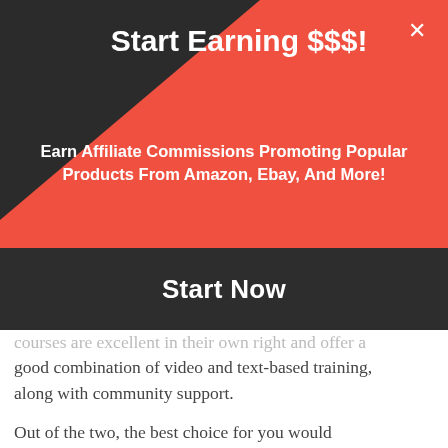Start Earning $$$!
Earn Affiliate Commissions Promoting Popular Products From Amazon, Ebay, And More!
Start Now
courses are excellent in their own right and offer a good combination of video and text-based training, along with community support.
Out of the two, the best choice for you would depend on a couple of things.
The first is where you're located. If you're outside of the United States, then the Proven Amazon Course is the way to go, hands down. This course has a specific component that focuses on using Amazon FBA from outside of the United States,